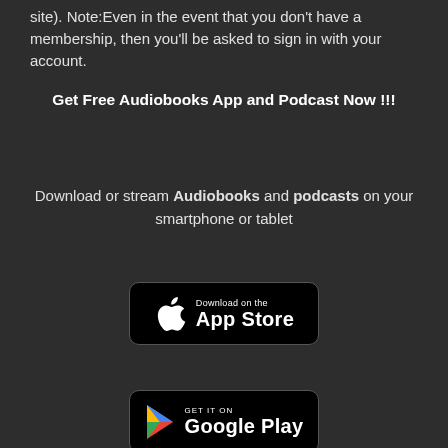site). Note:Even in the event that you don't have a membership, then you'll be asked to sign in with your account.
Get Free Audiobooks App and Podcast Now !!!
Download or stream Audiobooks and podcasts on your smartphone or tablet
[Figure (other): Download on the App Store badge button]
[Figure (other): Get it on Google Play badge button]